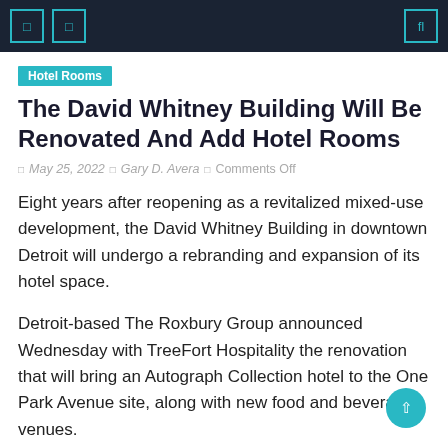Navigation bar with icons and search
Hotel Rooms
The David Whitney Building Will Be Renovated And Add Hotel Rooms
May 25, 2022  Gary D. Avera  Comments Off
Eight years after reopening as a revitalized mixed-use development, the David Whitney Building in downtown Detroit will undergo a rebranding and expansion of its hotel space.
Detroit-based The Roxbury Group announced Wednesday with TreeFort Hospitality the renovation that will bring an Autograph Collection hotel to the One Park Avenue site, along with new food and beverage venues.
The project is expected to be completed by the end of 2023.